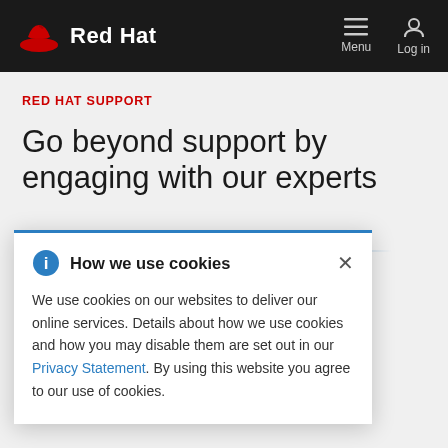Red Hat | Menu | Log in
RED HAT SUPPORT
Go beyond support by engaging with our experts
...accomplish ...ship we build ...ols and ...journey.
[Figure (screenshot): Cookie consent banner with title 'How we use cookies', info icon, close button, and text about cookie usage with a Privacy Statement link.]
We use cookies on our websites to deliver our online services. Details about how we use cookies and how you may disable them are set out in our Privacy Statement. By using this website you agree to our use of cookies.